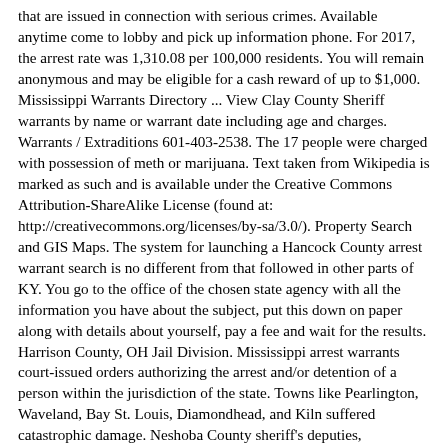that are issued in connection with serious crimes. Available anytime come to lobby and pick up information phone. For 2017, the arrest rate was 1,310.08 per 100,000 residents. You will remain anonymous and may be eligible for a cash reward of up to $1,000. Mississippi Warrants Directory ... View Clay County Sheriff warrants by name or warrant date including age and charges. Warrants / Extraditions 601-403-2538. The 17 people were charged with possession of meth or marijuana. Text taken from Wikipedia is marked as such and is available under the Creative Commons Attribution-ShareAlike License (found at: http://creativecommons.org/licenses/by-sa/3.0/). Property Search and GIS Maps. The system for launching a Hancock County arrest warrant search is no different from that followed in other parts of KY. You go to the office of the chosen state agency with all the information you have about the subject, put this down on paper along with details about yourself, pay a fee and wait for the results. Harrison County, OH Jail Division. Mississippi arrest warrants court-issued orders authorizing the arrest and/or detention of a person within the jurisdiction of the state. Towns like Pearlington, Waveland, Bay St. Louis, Diamondhead, and Kiln suffered catastrophic damage. Neshoba County sheriff's deputies, Philadelphia police and the Mississippi Bureau of Narcotics made the arrests. Mississippi arrest warrants court-issued orders authorizing the arrest and/or detention of a person within the jurisdiction of the state. He was soon promoted to patrol sergeant, and eventually was assigned to the position of narcotics agent in